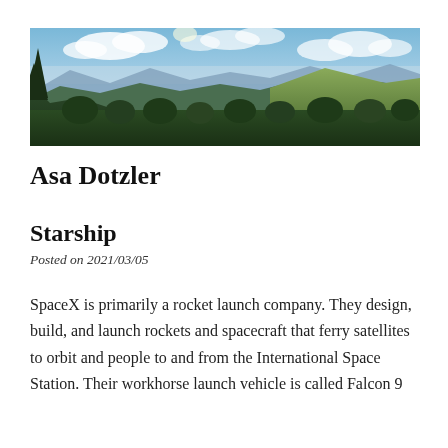[Figure (photo): Panoramic landscape photo showing forested hills and mountains under a partly cloudy blue sky, with a tall evergreen tree visible on the left side.]
Asa Dotzler
Starship
Posted on 2021/03/05
SpaceX is primarily a rocket launch company. They design, build, and launch rockets and spacecraft that ferry satellites to orbit and people to and from the International Space Station. Their workhorse launch vehicle is called Falcon 9